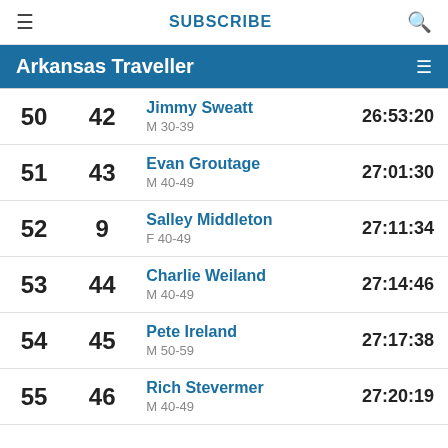SUBSCRIBE
Arkansas Traveller
| Overall | Gender | Name / Category | Time |
| --- | --- | --- | --- |
| 50 | 42 | Jimmy Sweatt / M 30-39 | 26:53:20 |
| 51 | 43 | Evan Groutage / M 40-49 | 27:01:30 |
| 52 | 9 | Salley Middleton / F 40-49 | 27:11:34 |
| 53 | 44 | Charlie Weiland / M 40-49 | 27:14:46 |
| 54 | 45 | Pete Ireland / M 50-59 | 27:17:38 |
| 55 | 46 | Rich Stevermer / M 40-49 | 27:20:19 |